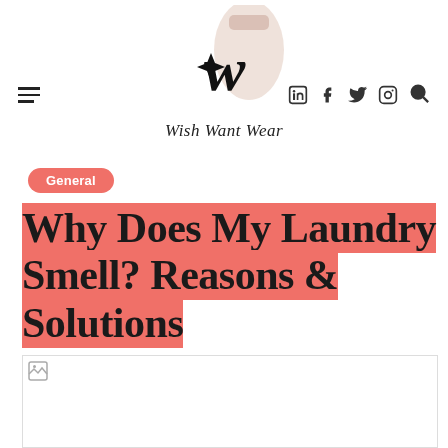Wish Want Wear
General
Why Does My Laundry Smell? Reasons & Solutions
[Figure (photo): Article hero image placeholder (broken/loading image)]